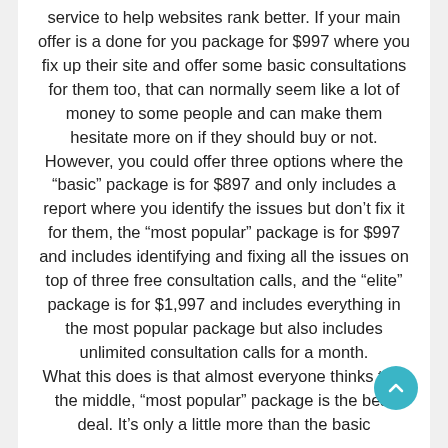service to help websites rank better. If your main offer is a done for you package for $997 where you fix up their site and offer some basic consultations for them too, that can normally seem like a lot of money to some people and can make them hesitate more on if they should buy or not. However, you could offer three options where the “basic” package is for $897 and only includes a report where you identify the issues but don’t fix it for them, the “most popular” package is for $997 and includes identifying and fixing all the issues on top of three free consultation calls, and the “elite” package is for $1,997 and includes everything in the most popular package but also includes unlimited consultation calls for a month. What this does is that almost everyone thinks that the middle, “most popular” package is the best deal. It’s only a little more than the basic